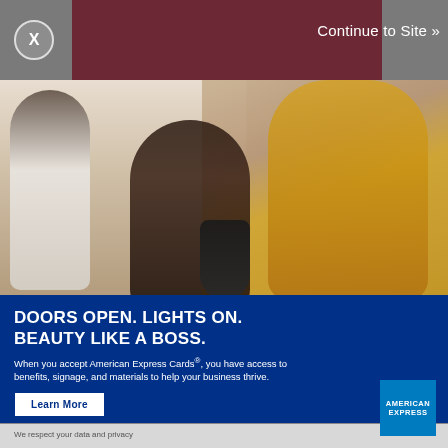[Figure (photo): Advertisement overlay showing an ×close button and 'Continue to Site »' link on a dark gray/maroon background at the top]
[Figure (photo): Salon scene with a hairstylist in a yellow shirt blow-drying a client's hair; other salon patrons visible in background mirrors]
DOORS OPEN. LIGHTS ON. BEAUTY LIKE A BOSS.
When you accept American Express Cards®, you have access to benefits, signage, and materials to help your business thrive.
Learn More
[Figure (logo): American Express blue logo]
We respect your data and privacy